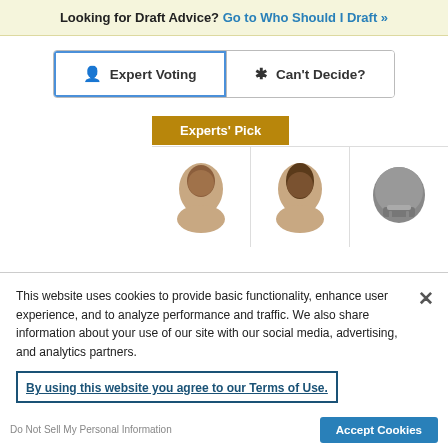Looking for Draft Advice? Go to Who Should I Draft »
Expert Voting
Can't Decide?
Experts' Pick
[Figure (photo): Three football player headshots/helmet images in a row]
This website uses cookies to provide basic functionality, enhance user experience, and to analyze performance and traffic. We also share information about your use of our site with our social media, advertising, and analytics partners.
By using this website you agree to our Terms of Use.
Accept Cookies